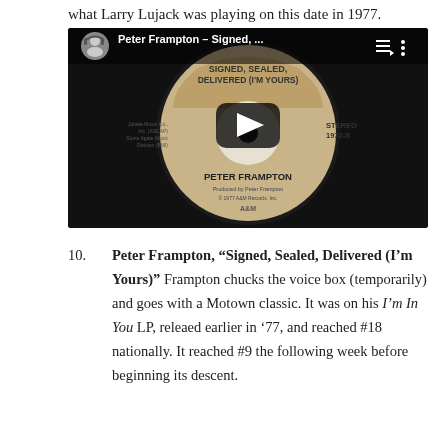what Larry Lujack was playing on this date in 1977.
[Figure (screenshot): YouTube video thumbnail showing a vinyl record label for Peter Frampton - Signed, Sealed, Delivered (I'm Yours). The label reads 'SIGNED, SEALED, DELIVERED (I'M YOURS)' at the top, 'STEREO 1972-S' on the right, and 'PETER FRAMPTON' near the bottom with 'Produced by Peter Frampton' and '© 1977 A&M Records, Inc.' A YouTube play button overlay is visible in the center. A circular thumbnail of the video uploader (person with headphones) is visible top-left.]
10. Peter Frampton, “Signed, Sealed, Delivered (I’m Yours)” Frampton chucks the voice box (temporarily) and goes with a Motown classic. It was on his I’m In You LP, releaed earlier in ’77, and reached #18 nationally. It reached #9 the following week before beginning its descent.